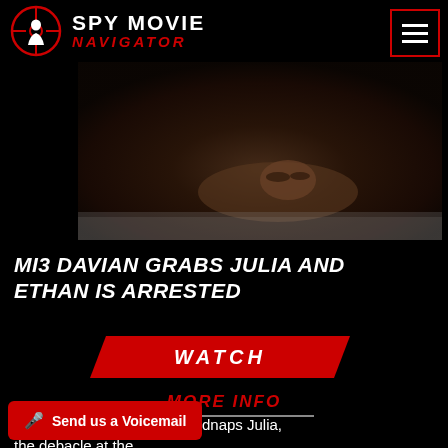SPY MOVIE NAVIGATOR
[Figure (photo): Dark cinematic still image showing a person lying low, close-up of face near ground level, dark/brown tones]
MI3 DAVIAN GRABS JULIA AND ETHAN IS ARRESTED
WATCH
MORE INFO
While Davian's henchman kidnaps Julia, the debacle at the
Send us a Voicemail